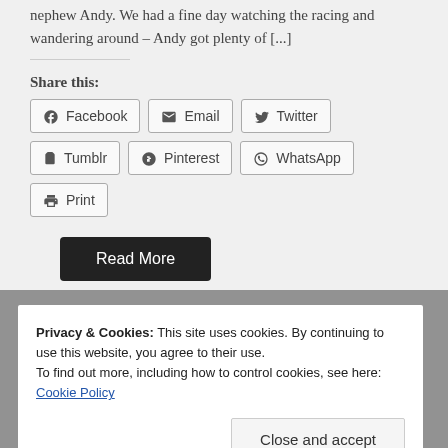nephew Andy. We had a fine day watching the racing and wandering around – Andy got plenty of [...]
Share this:
Facebook  Email  Twitter  Tumblr  Pinterest  WhatsApp  Print
Read More
Privacy & Cookies: This site uses cookies. By continuing to use this website, you agree to their use.
To find out more, including how to control cookies, see here:
Cookie Policy
Close and accept
May 5, 2014  No Comments
Up early today, sandwiches made, drinks packed and off for a full day at Oulton Park for the